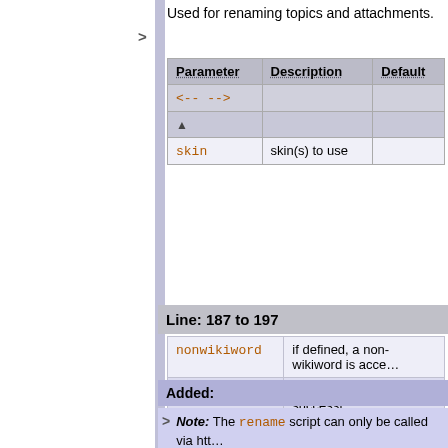Used for renaming topics and attachments.
| Parameter | Description | Default |
| --- | --- | --- |
| <-- --> |  |  |
| ▲ |  |  |
| skin | skin(s) to use |  |
Line: 187 to 197
| nonwikiword | if defined, a non-wikiword is acce… |
| redirectto | If the rename process is successf…
The parameter value can be a To…
Note: Redirect to a URL only wor…
(Miscellaneous {AllowRedirec… |
Added:
Note: The rename script can only be called via htt…
specify method="post" if you call the rename sc…